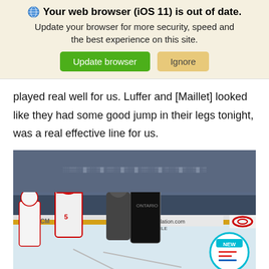[Figure (screenshot): Browser update notification banner with globe icon reading 'Your web browser (iOS 11) is out of date. Update your browser for more security, speed and the best experience on this site.' with green 'Update browser' button and tan 'Ignore' button.]
played real well for us. Luffer and [Maillet] looked like they had some good jump in their legs tonight, was a real effective line for us.
[Figure (photo): Hockey game photo showing players on ice including a player in white and red uniform (#5) and a player in black uniform, with CCM branding visible, DentalSedation.com and 866-BIG-SMILE rinkside advertisements, arena crowd in background, Toyota logo at right edge, and a NEW badge overlay in bottom right corner.]